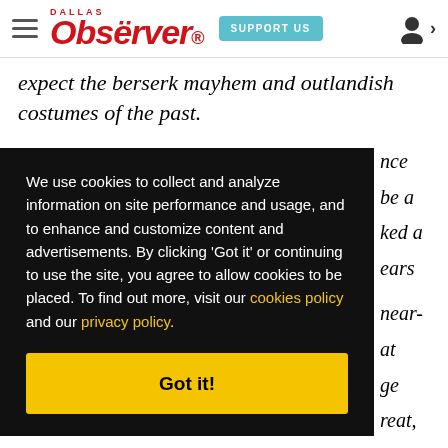Dallas Observer — SUPPORT US — [user icon]
expect the berserk mayhem and outlandish costumes of the past.
We use cookies to collect and analyze information on site performance and usage, and to enhance and customize content and advertisements. By clicking 'Got it' or continuing to use the site, you agree to allow cookies to be placed. To find out more, visit our cookies policy and our privacy policy.
Got it!